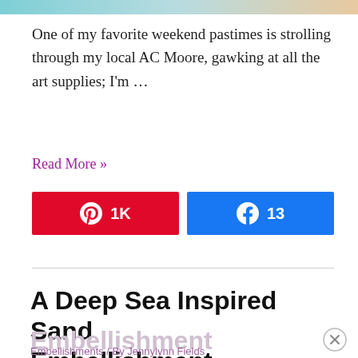[Figure (photo): Top partial image strip, appears to be an art or craft related photo with blue and sandy tones]
One of my favorite weekend pastimes is strolling through my local AC Moore, gawking at all the art supplies; I'm …
Read More »
[Figure (infographic): Pinterest share button showing 1K shares (red) and Facebook share button showing 13 shares (blue)]
A Deep Sea Inspired Sand Embellishment
Embellishments / By Jennylynn Fields